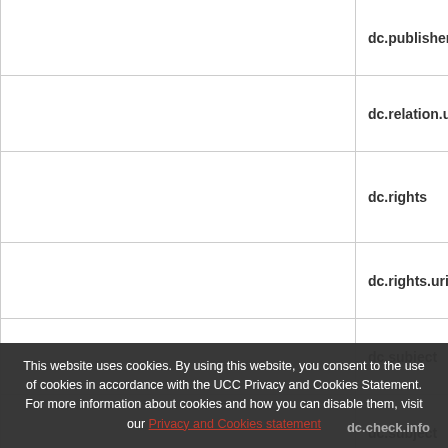| (left column) | Field Name |
| --- | --- |
|  | dc.publisher |
|  | dc.relation.uri |
|  | dc.rights |
|  | dc.rights.uri |
|  | dc.subject |
|  | dc.subject |
|  | dc.subject |
|  | dc.title |
|  | dc.type |
|  | dc.internal.authorcontribution |
|  | dc.check.info |
This website uses cookies. By using this website, you consent to the use of cookies in accordance with the UCC Privacy and Cookies Statement. For more information about cookies and how you can disable them, visit our Privacy and Cookies statement